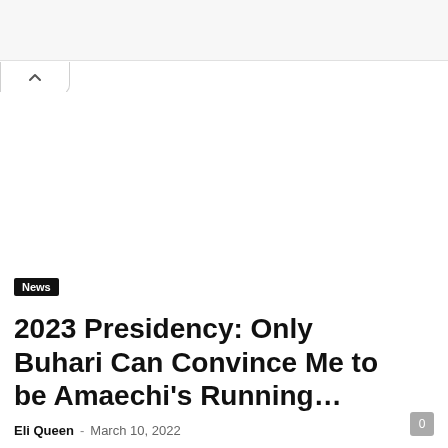News
2023 Presidency: Only Buhari Can Convince Me to be Amaechi's Running…
Eli Queen - March 10, 2022